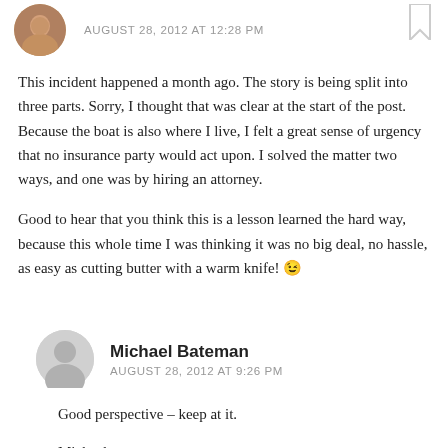[Figure (photo): User avatar photo (cropped circular portrait of a person)]
AUGUST 28, 2012 AT 12:28 PM
This incident happened a month ago. The story is being split into three parts. Sorry, I thought that was clear at the start of the post. Because the boat is also where I live, I felt a great sense of urgency that no insurance party would act upon. I solved the matter two ways, and one was by hiring an attorney.
Good to hear that you think this is a lesson learned the hard way, because this whole time I was thinking it was no big deal, no hassle, as easy as cutting butter with a warm knife! 😉
[Figure (illustration): Generic gray user avatar (circular silhouette icon)]
Michael Bateman
AUGUST 28, 2012 AT 9:26 PM
Good perspective – keep at it.
Michael